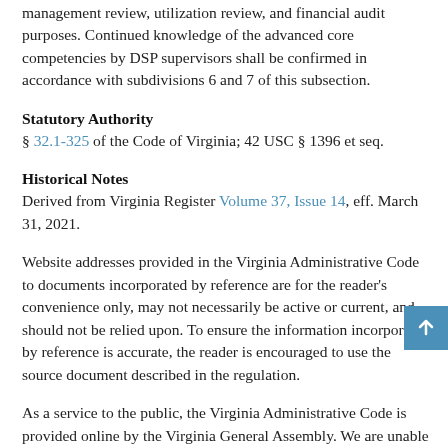management review, utilization review, and financial audit purposes. Continued knowledge of the advanced core competencies by DSP supervisors shall be confirmed in accordance with subdivisions 6 and 7 of this subsection.
Statutory Authority
§ 32.1-325 of the Code of Virginia; 42 USC § 1396 et seq.
Historical Notes
Derived from Virginia Register Volume 37, Issue 14, eff. March 31, 2021.
Website addresses provided in the Virginia Administrative Code to documents incorporated by reference are for the reader's convenience only, may not necessarily be active or current, and should not be relied upon. To ensure the information incorporated by reference is accurate, the reader is encouraged to use the source document described in the regulation.
As a service to the public, the Virginia Administrative Code is provided online by the Virginia General Assembly. We are unable to answer legal questions or respond to requests for legal advice, including application of law to specific fact. To understand and protect